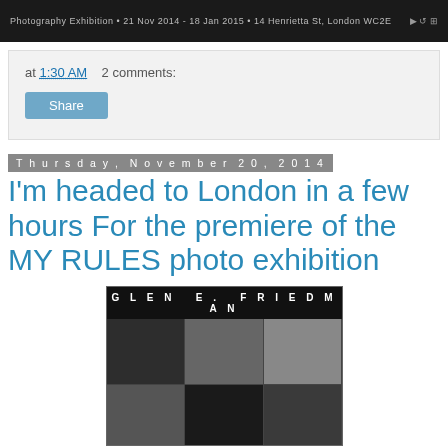[Figure (screenshot): Top dark banner image with text: Photography Exhibition • 21 Nov 2014 - 18 Jan 2015 • 14 Henrietta St, London WC2E]
at 1:30 AM   2 comments:
Share
Thursday, November 20, 2014
I'm headed to London in a few hours For the premiere of the MY RULES photo exhibition
[Figure (photo): Glen E. Friedman photo exhibition collage showing multiple black and white photographs of musicians and people, with 'GLEN E. FRIEDMAN' text header]